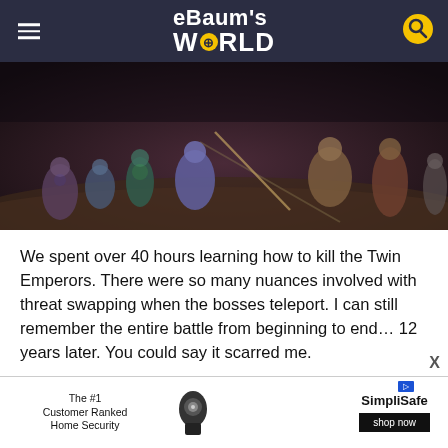eBaum's World
[Figure (screenshot): World of Warcraft game screenshot showing multiple characters in a dark dungeon/desert arena environment, with various player characters visible on sandy ground]
We spent over 40 hours learning how to kill the Twin Emperors. There were so many nuances involved with threat swapping when the bosses teleport. I can still remember the entire battle from beginning to end... 12 years later. You could say it scarred me.
Also Read: This Is What World of Warcraft Would Look Like In Real Life
[Figure (other): Advertisement banner: The #1 Customer Ranked Home Security - SimpliSafe - shop now]